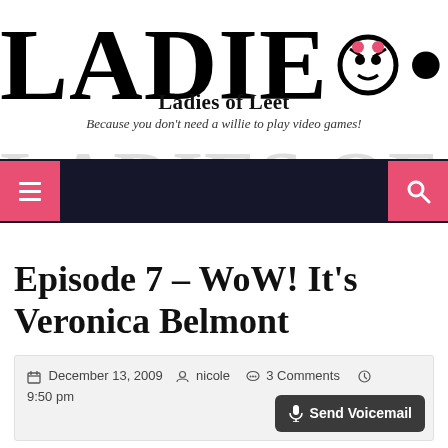LADIES OF LEET
Ladies of Leet
Because you don't need a willie to play video games!
[Figure (screenshot): Navigation bar with dark background, pink hamburger menu button on left and pink search button on right]
Episode 7 – WoW! It's Veronica Belmont
December 13, 2009   nicole   3 Comments   9:50 pm
[Figure (other): Send Voicemail button with microphone icon]